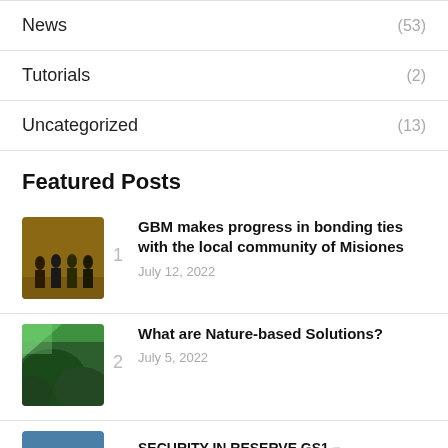News (53)
Tutorials (2)
Uncategorized (13)
Featured Posts
[Figure (photo): Group of people standing in front of a wooden wall]
1  GBM makes progress in bonding ties with the local community of Misiones
July 12, 2022
[Figure (photo): Aerial view of green forest]
2  What are Nature-based Solutions?
July 5, 2022
[Figure (photo): Partial thumbnail partially visible at bottom]
SECURITY IN RESERVE GS1 –